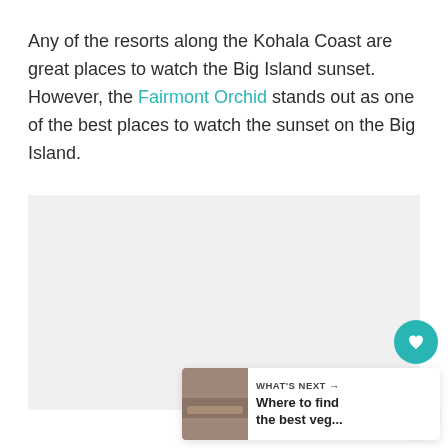Any of the resorts along the Kohala Coast are great places to watch the Big Island sunset. However, the Fairmont Orchid stands out as one of the best places to watch the sunset on the Big Island.
[Figure (photo): Image placeholder (light gray rectangle) representing a photo of the Fairmont Orchid or Big Island sunset view]
[Figure (other): UI elements: teal heart/like button showing count of 44, and a share button]
[Figure (other): What's Next card with thumbnail image and text: 'WHAT'S NEXT → Where to find the best veg...']